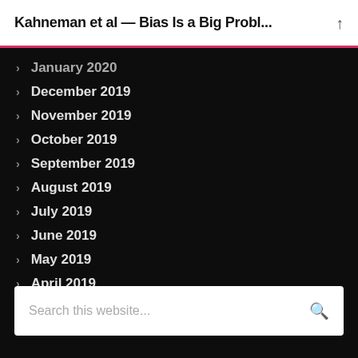Kahneman et al — Bias Is a Big Probl...
January 2020
December 2019
November 2019
October 2019
September 2019
August 2019
July 2019
June 2019
May 2019
April 2019
March 2019
Search this website...